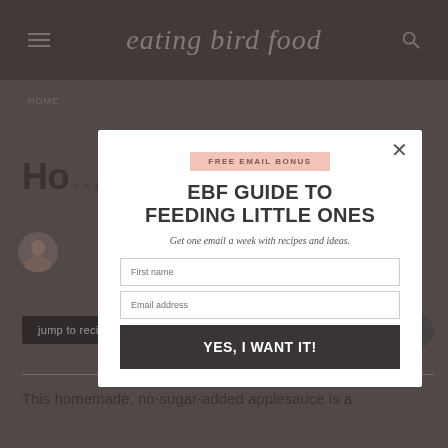eating bird food
HOME
Ho…
jump to recipe
[Figure (infographic): Modal popup overlay with email signup form. Contains 'FREE EMAIL BONUS' badge, title 'EBF GUIDE TO FEEDING LITTLE ONES', subtitle 'Get one email a week with recipes and ideas.', First name input, Email address input, and 'YES, I WANT IT!' button. Close X in top right corner.]
This homemade, no-sugar-added applesauce is a